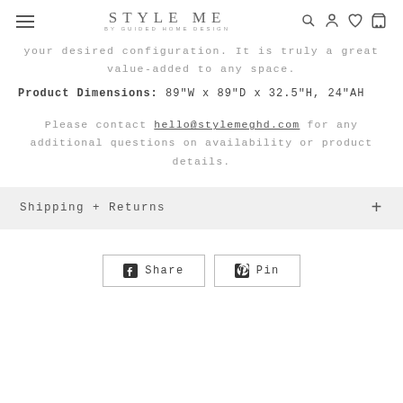STYLE ME BY GUIDED HOME DESIGN — navigation header
your desired configuration. It is truly a great value-added to any space.
Product Dimensions: 89"W x 89"D x 32.5"H, 24"AH
Please contact hello@stylemeghd.com for any additional questions on availability or product details.
Shipping + Returns
Share   Pin